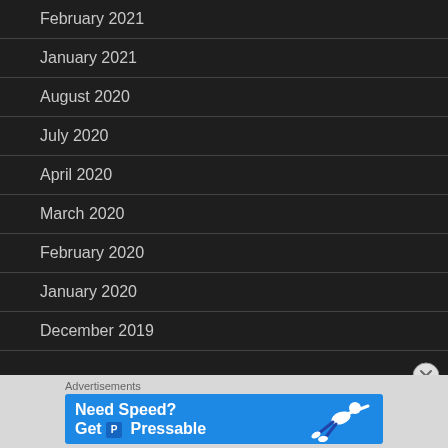February 2021
January 2021
August 2020
July 2020
April 2020
March 2020
February 2020
January 2020
December 2019
[Figure (screenshot): Blue advertisement banner: 'Need Speed? Get P Pressable' with a person diving/running figure on the right side]